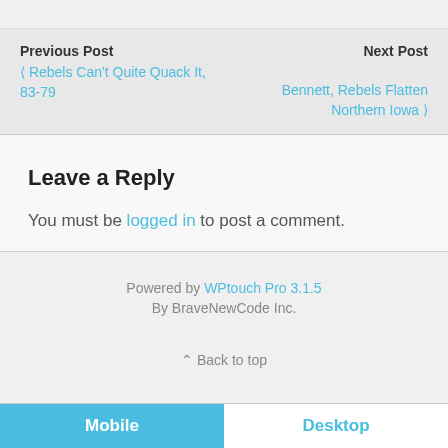Previous Post ❮ Rebels Can't Quite Quack It, 83-79
Next Post Bennett, Rebels Flatten Northern Iowa ❯
Leave a Reply
You must be logged in to post a comment.
Powered by WPtouch Pro 3.1.5
By BraveNewCode Inc.
⌃ Back to top
Mobile  Desktop